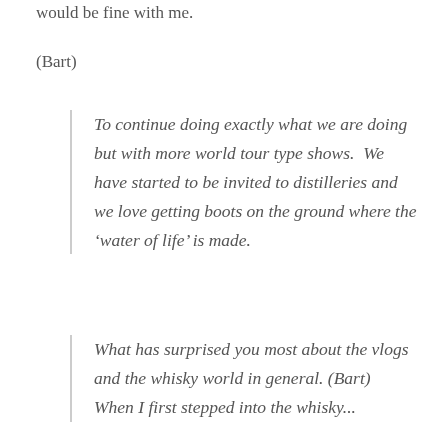would be fine with me.
(Bart)
To continue doing exactly what we are doing but with more world tour type shows.  We have started to be invited to distilleries and we love getting boots on the ground where the ‘water of life’ is made.
What has surprised you most about the vlogs and the whisky world in general. (Bart)
When I first stepped into the whisky...